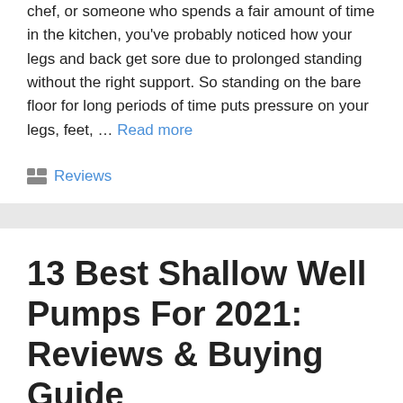chef, or someone who spends a fair amount of time in the kitchen, you've probably noticed how your legs and back get sore due to prolonged standing without the right support. So standing on the bare floor for long periods of time puts pressure on your legs, feet, … Read more
Categories: Reviews
13 Best Shallow Well Pumps For 2021: Reviews & Buying Guide